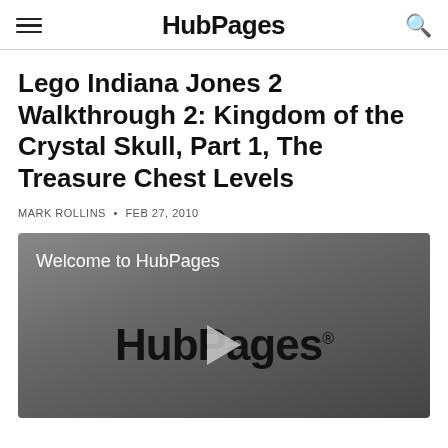HubPages
Lego Indiana Jones 2 Walkthrough 2: Kingdom of the Crystal Skull, Part 1, The Treasure Chest Levels
MARK ROLLINS • FEB 27, 2010
[Figure (screenshot): Video player showing HubPages logo with play button and text 'Welcome to HubPages']